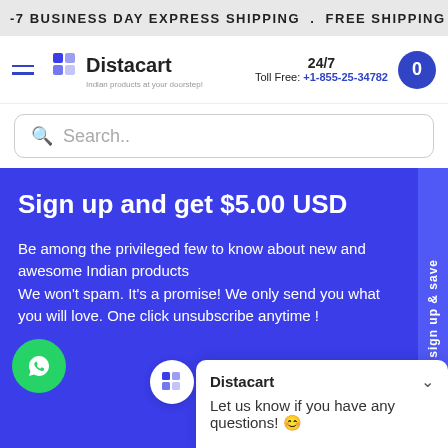-7 BUSINESS DAY EXPRESS SHIPPING . FREE SHIPPING >$35
[Figure (logo): Distacart logo with tagline 'Indian products at your doorstep!']
24/7 Toll Free: +1-855-25-34782
Search..
Sign up and get $5.00 USD
Be among the privileged few to know about new and awesome Indian products
We won't spam. It's a promise! We only send you what you will love. One click unsubscribe anytime !
sign up & save
Distacart
Let us know if you have any questions! 😊